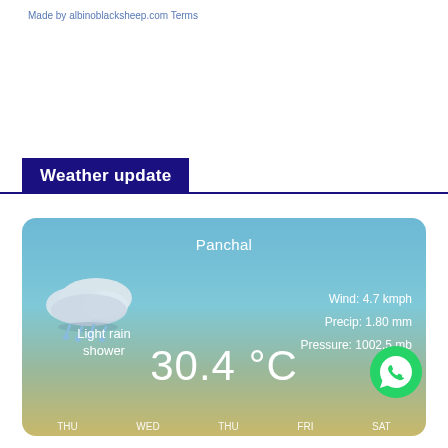Made by albinoblacksheep.com Terms
Weather update
[Figure (infographic): Weather widget showing Panchal location with light rain shower, wind 4.7 kmph, precip 1.80 mm, pressure 1002.5 mb, temperature 30.4°C, with cloud/rain icon and day labels THU WED THU FRI SAT at bottom]